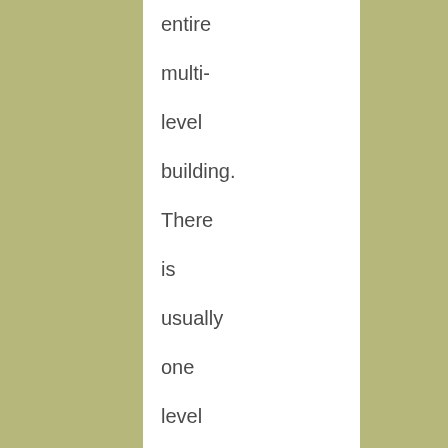entire multi-level building. There is usually one level that serves small parties, and then there are private rooms on other floors